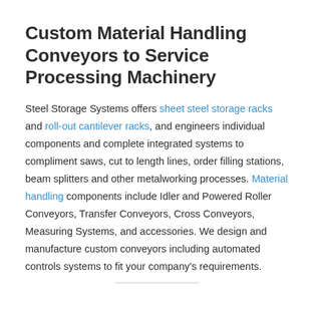Custom Material Handling Conveyors to Service Processing Machinery
Steel Storage Systems offers sheet steel storage racks and roll-out cantilever racks, and engineers individual components and complete integrated systems to compliment saws, cut to length lines, order filling stations, beam splitters and other metalworking processes. Material handling components include Idler and Powered Roller Conveyors, Transfer Conveyors, Cross Conveyors, Measuring Systems, and accessories. We design and manufacture custom conveyors including automated controls systems to fit your company's requirements.